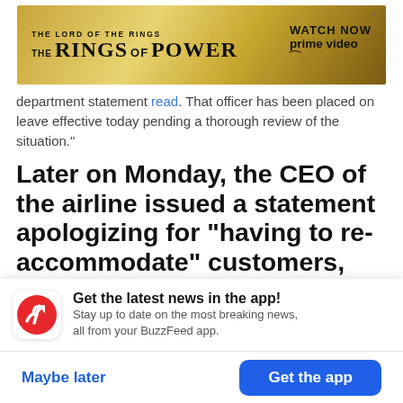[Figure (illustration): Amazon Prime Video advertisement banner for 'The Lord of the Rings: The Rings of Power'. Gold/dark themed banner with title text and 'Watch Now prime video' call to action with Amazon smile logo.]
department statement read. That officer has been placed on leave effective today pending a thorough review of the situation."
Later on Monday, the CEO of the airline issued a statement apologizing for "having to re-accommodate" customers, adding that the airline is conducting its own detailed review of the incident.
[Figure (logo): BuzzFeed app notification prompt with red circular BuzzFeed logo icon. Text: 'Get the latest news in the app! Stay up to date on the most breaking news, all from your BuzzFeed app.']
Maybe later
Get the app